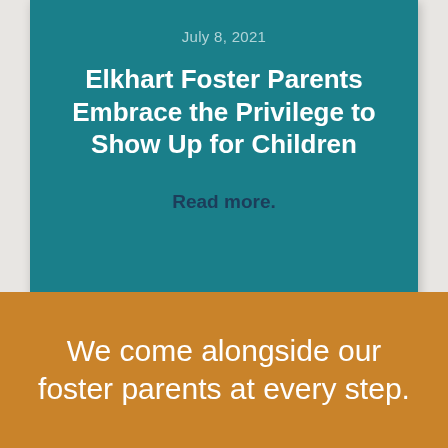July 8, 2021
Elkhart Foster Parents Embrace the Privilege to Show Up for Children
Read more.
We come alongside our foster parents at every step.